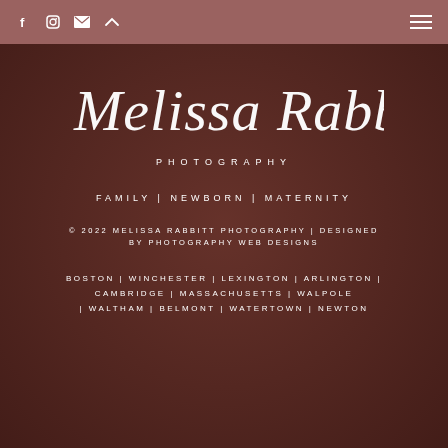f  IG  ✉  ^  ≡
Melissa Rabbitt PHOTOGRAPHY
FAMILY | NEWBORN | MATERNITY
© 2022 MELISSA RABBITT PHOTOGRAPHY | DESIGNED BY PHOTOGRAPHY WEB DESIGNS
BOSTON | WINCHESTER | LEXINGTON | ARLINGTON | CAMBRIDGE | MASSACHUSETTS | WALPOLE | WALTHAM | BELMONT | WATERTOWN | NEWTON